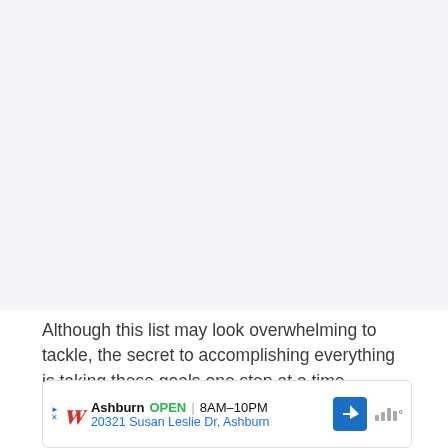[Figure (other): Large blank/light gray image area at the top of the page, representing a content image that is not loaded or visible]
Although this list may look overwhelming to tackle, the secret to accomplishing everything is taking these goals one step at a time.
[Figure (other): Advertisement banner for Walgreens in Ashburn showing OPEN 8AM-10PM and address 20321 Susan Leslie Dr, Ashburn with navigation and weather icons]